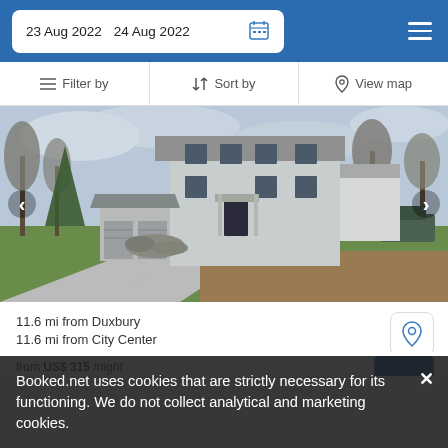23 Aug 2022  24 Aug 2022
Filter by   Sort by   View map
[Figure (photo): Exterior photo of a two-story white colonial house with garage, driveway, and green lawn, surrounded by bare trees and evergreens. Navigation arrows on left and right.]
11.6 mi from Duxbury
11.6 mi from City Center
Booked.net uses cookies that are strictly necessary for its functioning. We do not collect analytical and marketing cookies.